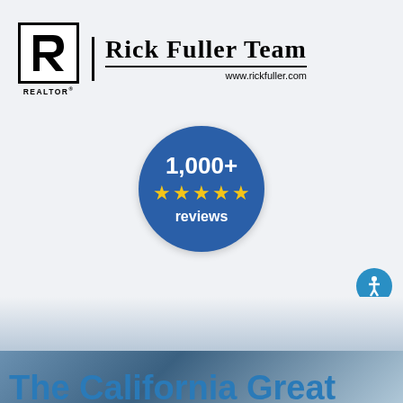[Figure (logo): Rick Fuller Team Realtor logo with large R symbol in box, brand name 'Rick Fuller Team' and website www.rickfuller.com]
[Figure (infographic): Dark blue circular badge showing '1,000+' with five yellow stars and the word 'reviews']
[Figure (logo): Blue circular accessibility icon button]
Call (888)950-7425
Connect with Rick
The California Great